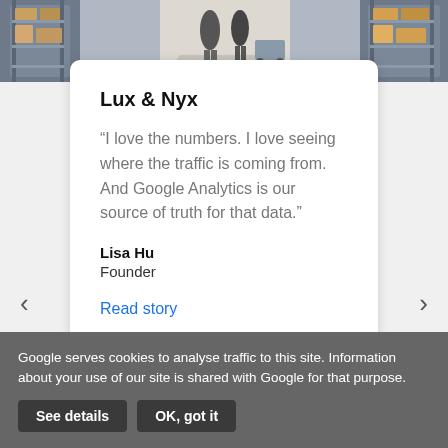[Figure (photo): Warehouse/storage facility with people walking between shelving racks with boxes]
Lux & Nyx
“I love the numbers. I love seeing where the traffic is coming from. And Google Analytics is our source of truth for that data.”
Lisa Hu
Founder
Read story
Google serves cookies to analyse traffic to this site. Information about your use of our site is shared with Google for that purpose.